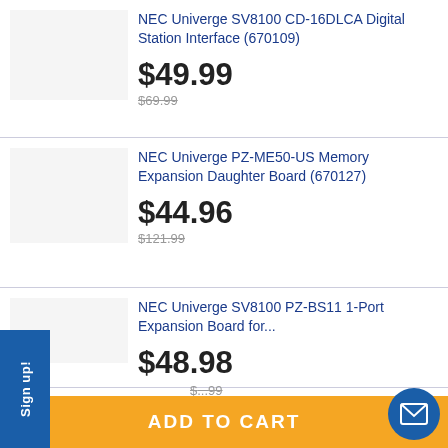NEC Univerge SV8100 CD-16DLCA Digital Station Interface (670109)
$49.99
$69.99
NEC Univerge PZ-ME50-US Memory Expansion Daughter Board (670127)
$44.96
$121.99
NEC Univerge SV8100 PZ-BS11 1-Port Expansion Board for...
$48.98
$99
NEC Univerge SV8100 PZ-BS10...
Sign up!
ADD TO CART